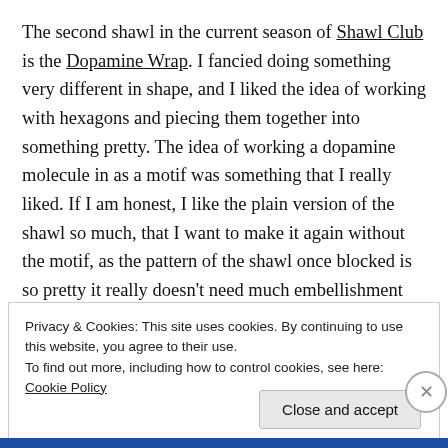The second shawl in the current season of Shawl Club is the Dopamine Wrap. I fancied doing something very different in shape, and I liked the idea of working with hexagons and piecing them together into something pretty. The idea of working a dopamine molecule in as a motif was something that I really liked. If I am honest, I like the plain version of the shawl so much, that I want to make it again without the motif, as the pattern of the shawl once blocked is so pretty it really doesn't need much embellishment and the hexagons are very quick to make. I hope you like it as much as I do!
Privacy & Cookies: This site uses cookies. By continuing to use this website, you agree to their use.
To find out more, including how to control cookies, see here: Cookie Policy
Close and accept